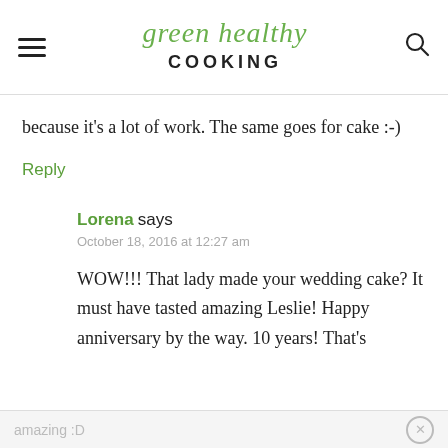green healthy COOKING
because it's a lot of work. The same goes for cake :-)
Reply
Lorena says
October 18, 2016 at 12:27 am
WOW!!! That lady made your wedding cake? It must have tasted amazing Leslie! Happy anniversary by the way. 10 years! That's
amazing :D